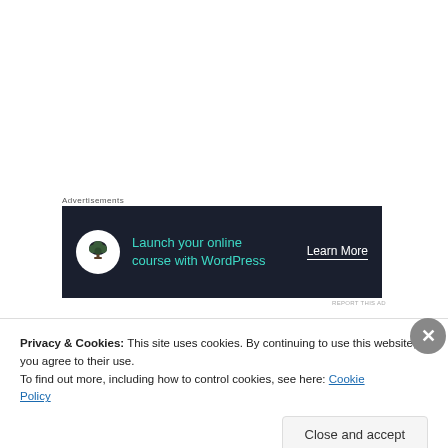Advertisements
[Figure (other): Dark-themed advertisement banner: 'Launch your online course with WordPress' with Learn More CTA and a bonsai tree icon]
REPORT THIS AD
This was hardly the first time music had been used to
Privacy & Cookies: This site uses cookies. By continuing to use this website, you agree to their use.
To find out more, including how to control cookies, see here: Cookie Policy
Close and accept